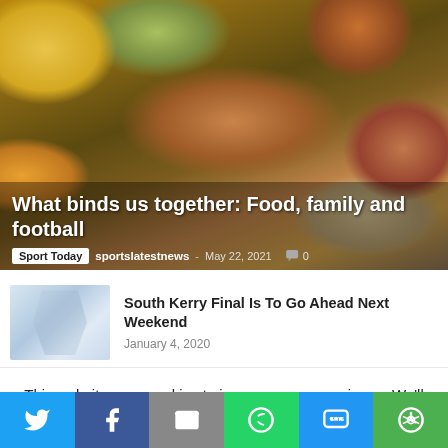[Figure (photo): Overhead view of Thanksgiving/holiday food spread including ham, pies, casseroles, and side dishes on a wooden table]
What binds us together: Food, family and football
Sport Today · sportslatestnews · May 22, 2021 · 0 comments
[Figure (photo): Thumbnail image with light blue/grey placeholder graphic]
South Kerry Final Is To Go Ahead Next Weekend
January 4, 2020
This website uses cookies to improve your experience. We'll assume you're ok with this, but you can opt-out if you wish.